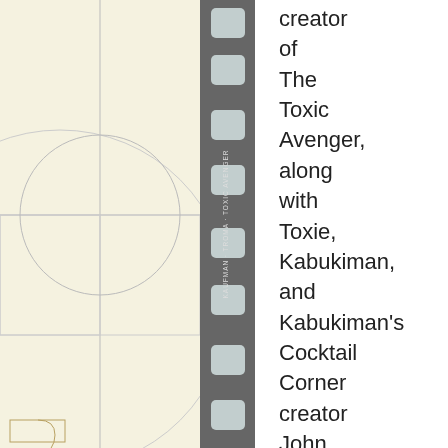[Figure (illustration): Background with geometric line art (golden spiral/Fibonacci pattern) in cream/beige tones on the left half, overlaid with a vertical filmstrip with sprocket holes and rotated text labels]
creator of The Toxic Avenger, along with Toxie, Kabukiman, and Kabukiman's Cocktail Corner creator John Brennan will walk the sticky red carpet at the Hard